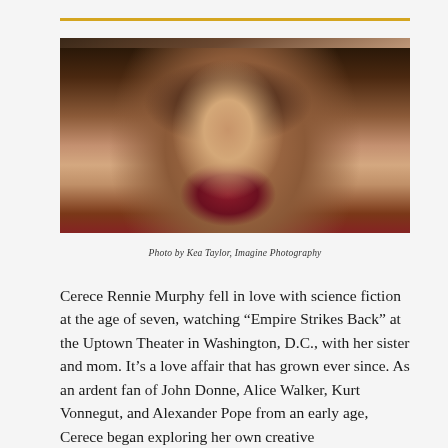[Figure (photo): Blurred portrait photo of a woman with long dark hair wearing a dark red top, photographed against a blurred background]
Photo by Kea Taylor, Imagine Photography
Cerece Rennie Murphy fell in love with science fiction at the age of seven, watching “Empire Strikes Back” at the Uptown Theater in Washington, D.C., with her sister and mom. It’s a love affair that has grown ever since. As an ardent fan of John Donne, Alice Walker, Kurt Vonnegut, and Alexander Pope from an early age, Cerece began exploring her own creative